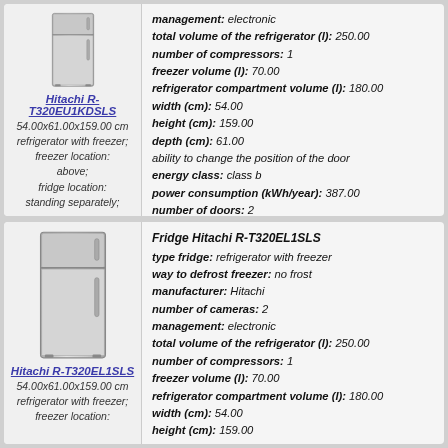[Figure (photo): Hitachi R-T320EU1KDSLS refrigerator product image (silver/stainless)]
Hitachi R-T320EU1KDSLS
54.00x61.00x159.00 cm
refrigerator with freezer; freezer location: above; fridge location: standing separately;
management: electronic
total volume of the refrigerator (l): 250.00
number of compressors: 1
freezer volume (l): 70.00
refrigerator compartment volume (l): 180.00
width (cm): 54.00
height (cm): 159.00
depth (cm): 61.00
ability to change the position of the door
energy class: class b
power consumption (kWh/year): 387.00
number of doors: 2
more information
[Figure (photo): Hitachi R-T320EL1SLS refrigerator product image (silver/stainless)]
Hitachi R-T320EL1SLS
54.00x61.00x159.00 cm
refrigerator with freezer; freezer location:
Fridge Hitachi R-T320EL1SLS
type fridge: refrigerator with freezer
way to defrost freezer: no frost
manufacturer: Hitachi
number of cameras: 2
management: electronic
total volume of the refrigerator (l): 250.00
number of compressors: 1
freezer volume (l): 70.00
refrigerator compartment volume (l): 180.00
width (cm): 54.00
height (cm): 159.00
depth (cm): 61.00
energy class: class b
power consumption (kWh/year): 387.00